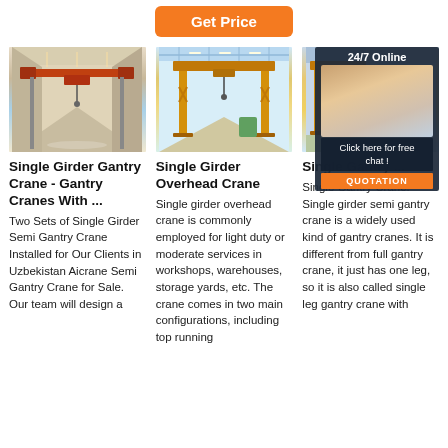[Figure (other): Orange 'Get Price' button at top center]
[Figure (photo): Single Girder Gantry Crane inside warehouse - orange bridge crane]
[Figure (photo): Single Girder Overhead Crane inside large warehouse - yellow gantry crane]
[Figure (photo): Single Gantry Crane - partial view plus 24/7 Online chat widget overlay with customer service representative]
Single Girder Gantry Crane - Gantry Cranes With ...
Two Sets of Single Girder Semi Gantry Crane Installed for Our Clients in Uzbekistan Aicrane Semi Gantry Crane for Sale. Our team will design a
Single Girder Overhead Crane
Single girder overhead crane is commonly employed for light duty or moderate services in workshops, warehouses, storage yards, etc. The crane comes in two main configurations, including top running
Single Gantry ...
Single Gantry Crane. Single girder semi gantry crane is a widely used kind of gantry cranes. It is different from full gantry crane, it just has one leg, so it is also called single leg gantry crane with